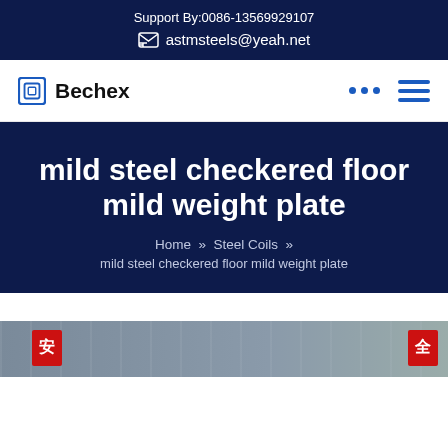Support By:0086-13569929107
astmsteels@yeah.net
Bechex
mild steel checkered floor mild weight plate
Home » Steel Coils » mild steel checkered floor mild weight plate
[Figure (photo): Photograph of a steel warehouse or factory facility with red Chinese character safety signs]